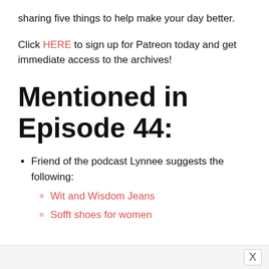sharing five things to help make your day better.
Click HERE to sign up for Patreon today and get immediate access to the archives!
Mentioned in Episode 44:
Friend of the podcast Lynnee suggests the following:
Wit and Wisdom Jeans
Sofft shoes for women